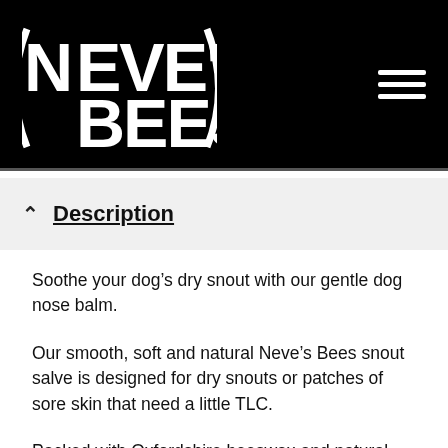[Figure (logo): Neve's Bees logo in white on black background, with hamburger menu icon in top right]
Description
Soothe your dog’s dry snout with our gentle dog nose balm.
Our smooth, soft and natural Neve’s Bees snout salve is designed for dry snouts or patches of sore skin that need a little TLC.
Packed with Oxfordshire beeswax and natural oils traditionally used to reduce skin irritation and help the healing process, our dog nose balm is easy to apply to busy dogs with a lovely light, ‘lick safe’ consistency!